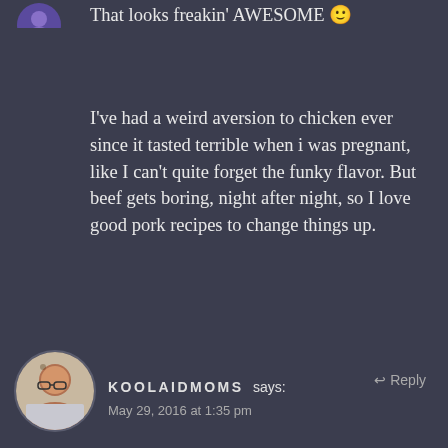That looks freakin' AWESOME 🙂
I've had a weird aversion to chicken ever since it tasted terrible when i was pregnant, like I can't quite forget the funky flavor. But beef gets boring, night after night, so I love good pork recipes to change things up.
And I love boneless pork chops. And bacon. And cheese...
★ Liked by 1 person
KOOLAIDMOMS says: May 29, 2016 at 1:35 pm